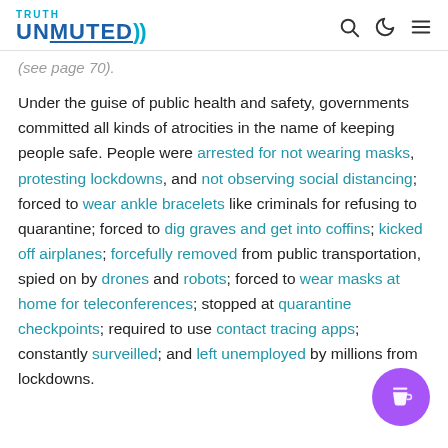TRUTH UNMUTED
(see page 70).
Under the guise of public health and safety, governments committed all kinds of atrocities in the name of keeping people safe. People were arrested for not wearing masks, protesting lockdowns, and not observing social distancing; forced to wear ankle bracelets like criminals for refusing to quarantine; forced to dig graves and get into coffins; kicked off airplanes; forcefully removed from public transportation, spied on by drones and robots; forced to wear masks at home for teleconferences; stopped at quarantine checkpoints; required to use contact tracing apps; constantly surveilled; and left unemployed by millions from lockdowns.